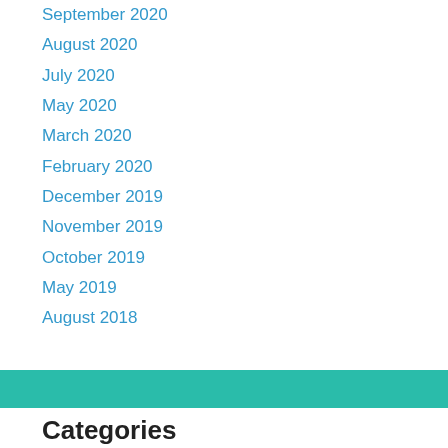September 2020
August 2020
July 2020
May 2020
March 2020
February 2020
December 2019
November 2019
October 2019
May 2019
August 2018
Categories